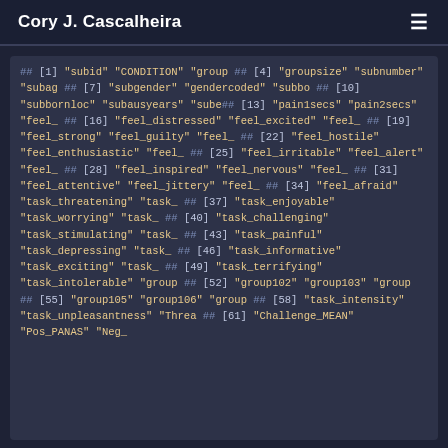Cory J. Cascalheira
## [1] "subid"          "CONDITION"      "group"
## [4] "groupsize"      "subnumber"      "subag"
## [7] "subgender"      "gendercoded"    "subbo"
## [10] "subbornloc"    "subausyears"    "sube"
## [13] "pain1secs"     "pain2secs"      "feel_"
## [16] "feel_distressed" "feel_excited" "feel_"
## [19] "feel_strong"   "feel_guilty"    "feel_"
## [22] "feel_hostile"  "feel_enthusiastic" "feel_"
## [25] "feel_irritable" "feel_alert"   "feel_"
## [28] "feel_inspired" "feel_nervous"   "feel_"
## [31] "feel_attentive" "feel_jittery"  "feel_"
## [34] "feel_afraid"   "task_threatening" "task_"
## [37] "task_enjoyable" "task_worrying" "task_"
## [40] "task_challenging" "task_stimulating" "task_"
## [43] "task_painful"  "task_depressing" "task_"
## [46] "task_informative" "task_exciting" "task_"
## [49] "task_terrifying" "task_intolerable" "group"
## [52] "group102"      "group103"       "group"
## [55] "group105"      "group106"       "group"
## [58] "task_intensity" "task_unpleasantness" "Threa"
## [61] "Challenge_MEAN" "Pos_PANAS"     "Neg_